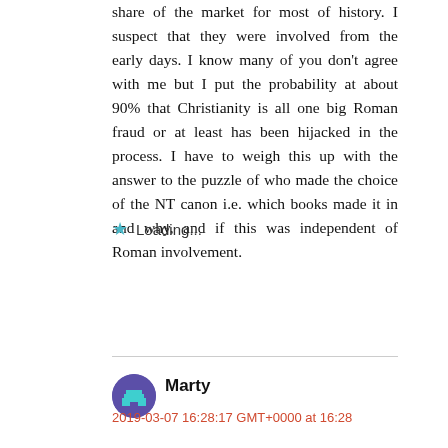share of the market for most of history. I suspect that they were involved from the early days. I know many of you don't agree with me but I put the probability at about 90% that Christianity is all one big Roman fraud or at least has been hijacked in the process. I have to weigh this up with the answer to the puzzle of who made the choice of the NT canon i.e. which books made it in and why, and if this was independent of Roman involvement.
Loading...
Reply
Marty
2019-03-07 16:28:17 GMT+0000 at 16:28